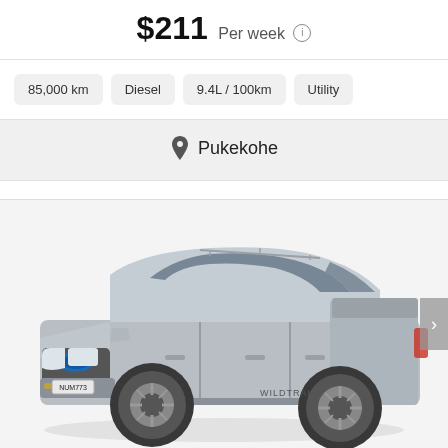$211 Per week
85,000 km
Diesel
9.4L / 100km
Utility
Pukekohe
[Figure (photo): Silver Ford Ranger pickup truck (double cab) photographed from front-left angle, showing license plate NUM773, on white/light grey background. NZ used car listing photo.]